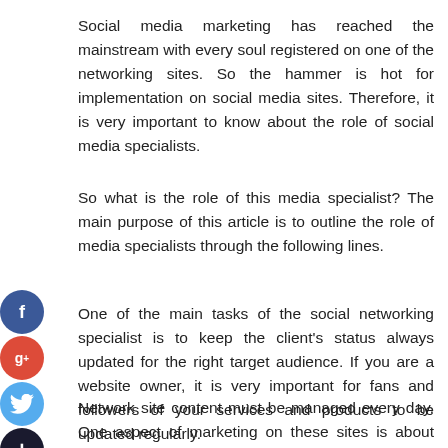Social media marketing has reached the mainstream with every soul registered on one of the networking sites. So the hammer is hot for implementation on social media sites. Therefore, it is very important to know about the role of social media specialists.
So what is the role of this media specialist? The main purpose of this article is to outline the role of media specialists through the following lines.
[Figure (infographic): Four social media share/follow buttons stacked vertically on the left side: Facebook (blue circle with f), Google+ (red circle with g+), Twitter (light blue circle with bird icon), and a dark add/plus button.]
One of the main tasks of the social networking specialist is to keep the client's status always updated for the right target audience. If you are a website owner, it is very important for fans and followers of your services and products to be updated regularly.
Network site content must be managed every day. One aspect of marketing on these sites is about generating